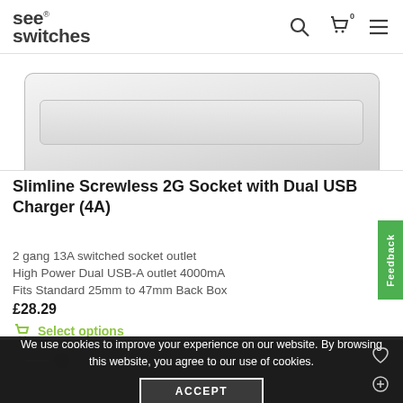see switches
[Figure (photo): Product photo of Slimline Screwless 2G Socket with Dual USB Charger, showing the white/silver face plate from above, partially cropped]
Slimline Screwless 2G Socket with Dual USB Charger (4A)
2 gang 13A switched socket outlet
High Power Dual USB-A outlet 4000mA
Fits Standard 25mm to 47mm Back Box
£28.29
Select options
We use cookies to improve your experience on our website. By browsing this website, you agree to our use of cookies.